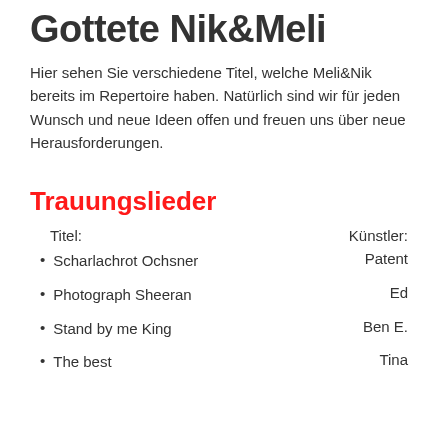Gottete Nik&Meli
Hier sehen Sie verschiedene Titel, welche Meli&Nik bereits im Repertoire haben. Natürlich sind wir für jeden Wunsch und neue Ideen offen und freuen uns über neue Herausforderungen.
Trauungslieder
Scharlachrot Ochsner | Patent
Photograph Sheeran | Ed
Stand by me King | Ben E.
The best | Tina